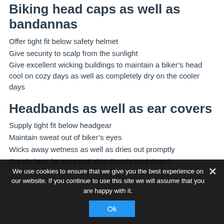Biking head caps as well as bandannas
Offer tight fit below safety helmet
Give security to scalp from the sunlight
Give excellent wicking buildings to maintain a biker’s head cool on cozy days as well as completely dry on the cooler days
Headbands as well as ear covers
Supply tight fit below headgear
Maintain sweat out of biker’s eyes
Wicks away wetness as well as dries out promptly
Supply beat for ears and also directly cool days )
We use cookies to ensure that we give you the best experience on our website. If you continue to use this site we will assume that you are happy with it.